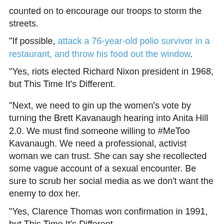counted on to encourage our troops to storm the streets.
"If possible, attack a 76-year-old polio survivor in a restaurant, and throw his food out the window.
"Yes, riots elected Richard Nixon president in 1968, but This Time It's Different.
"Next, we need to gin up the women's vote by turning the Brett Kavanaugh hearing into Anita Hill 2.0. We must find someone willing to #MeToo Kavanaugh. We need a professional, activist woman we can trust. She can say she recollected some vague account of a sexual encounter. Be sure to scrub her social media as we don't want the enemy to dox her.
"Yes, Clarence Thomas won confirmation in 1991, but This Time It's Different.
"Finally, we need to shore up the Hispanic vote by bringing a caravan of refugees (we no longer use undocumented